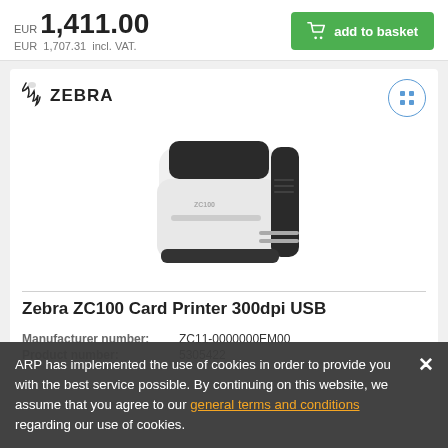EUR 1,411.00
EUR 1,707.31 incl. VAT.
add to basket
[Figure (logo): Zebra brand logo with zebra stripe icon and ZEBRA text]
[Figure (photo): Zebra ZC100 card printer, white and black color, angled front view]
Zebra ZC100 Card Printer 300dpi USB
| Manufacturer number: | ZC11-0000000EM00 |
| Product number: | 5305422 |
ARP has implemented the use of cookies in order to provide you with the best service possible. By continuing on this website, we assume that you agree to our general terms and conditions regarding our use of cookies.